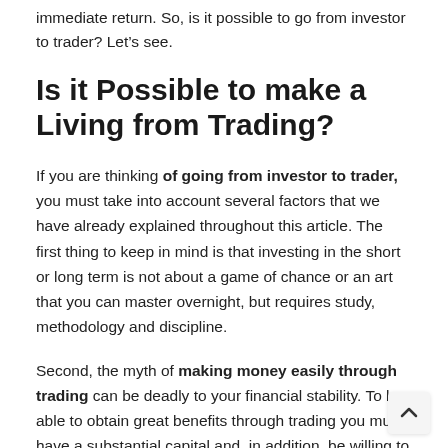immediate return. So, is it possible to go from investor to trader? Let's see.
Is it Possible to make a Living from Trading?
If you are thinking of going from investor to trader, you must take into account several factors that we have already explained throughout this article. The first thing to keep in mind is that investing in the short or long term is not about a game of chance or an art that you can master overnight, but requires study, methodology and discipline.
Second, the myth of making money easily through trading can be deadly to your financial stability. To be able to obtain great benefits through trading you must have a substantial capital and, in addition, be willing to